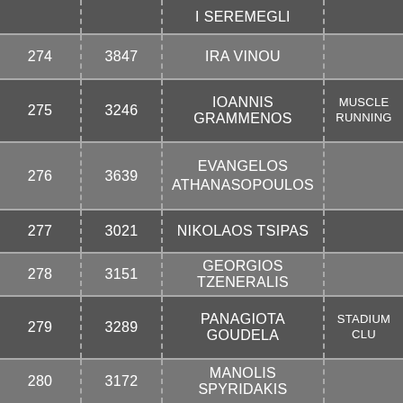| # | BIB | NAME | CLUB |
| --- | --- | --- | --- |
|  |  | I SEREMEGLI |  |
| 274 | 3847 | IRA VINOU |  |
| 275 | 3246 | IOANNIS GRAMMENOS | MUSCLE RUNNING |
| 276 | 3639 | EVANGELOS ATHANASOPOULOS |  |
| 277 | 3021 | NIKOLAOS TSIPAS |  |
| 278 | 3151 | GEORGIOS TZENERALIS |  |
| 279 | 3289 | PANAGIOTA GOUDELA | STADIUM CLU |
| 280 | 3172 | MANOLIS SPYRIDAKIS |  |
| 281 | 3296 | VOULA GIAGKOU |  |
| 282 | 3297 | IOANNA GIAGKOU |  |